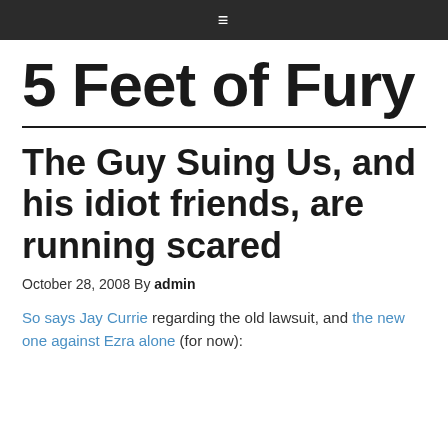≡
5 Feet of Fury
The Guy Suing Us, and his idiot friends, are running scared
October 28, 2008 By admin
So says Jay Currie regarding the old lawsuit, and the new one against Ezra alone (for now):